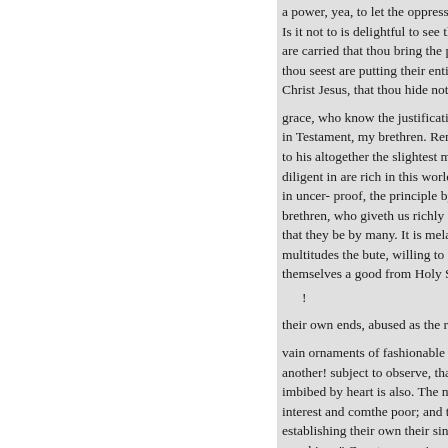a power, yea, to let the oppressed Is it not to is delightful to see the are carried that thou bring the po thou seest are putting their entire Christ Jesus, that thou hide not th
grace, who know the justification in Testament, my brethren. Reme to his altogether the slightest me diligent in are rich in this world, in uncer- proof, the principle by brethren, who giveth us richly al that they be by many. It is melan multitudes the bute, willing to co themselves a good from Holy Sc
!
their own ends, abused as the res
vain ornaments of fashionable fr another! subject to observe, that imbibed by heart is also. The me interest and comthe poor; and th establishing their own their sinki worship— Covetousness is yo